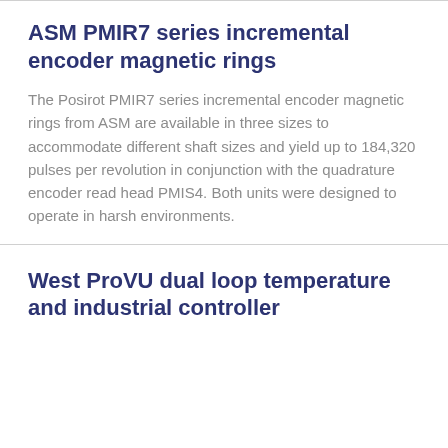ASM PMIR7 series incremental encoder magnetic rings
The Posirot PMIR7 series incremental encoder magnetic rings from ASM are available in three sizes to accommodate different shaft sizes and yield up to 184,320 pulses per revolution in conjunction with the quadrature encoder read head PMIS4. Both units were designed to operate in harsh environments.
West ProVU dual loop temperature and industrial controller